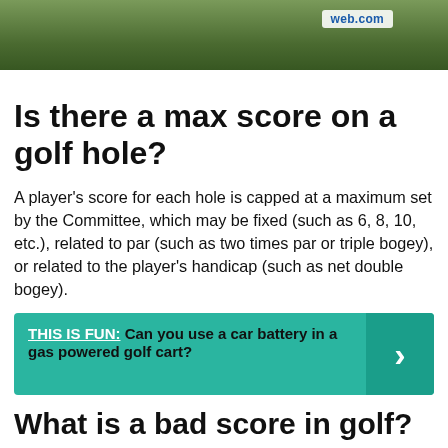[Figure (photo): Top portion of a photograph showing a golf trophy or cup on a green golf course, with a web.com banner visible]
Is there a max score on a golf hole?
A player's score for each hole is capped at a maximum set by the Committee, which may be fixed (such as 6, 8, 10, etc.), related to par (such as two times par or triple bogey), or related to the player's handicap (such as net double bogey).
THIS IS FUN: Can you use a car battery in a gas powered golf cart?
What is a bad score in golf?